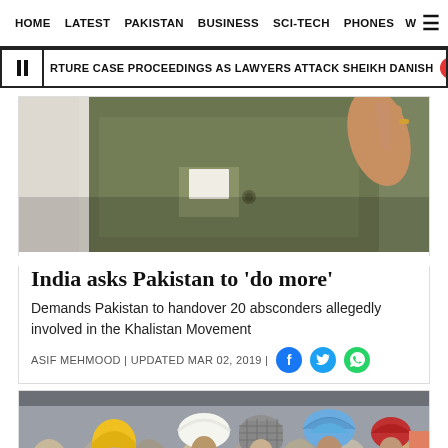HOME   LATEST   PAKISTAN   BUSINESS   SCI-TECH   PHONES   W
RTURE CASE PROCEEDINGS AS LAWYERS ATTACK SHEIKH DANISH   A DAY AFTER
[Figure (photo): Close-up photo of a person in a khaki/olive vest jacket with a white pocket square, hand raised]
India asks Pakistan to 'do more'
Demands Pakistan to handover 20 absconders allegedly involved in the Khalistan Movement
ASIF MEHMOOD | UPDATED MAR 02, 2019 |
[Figure (photo): Crowd of Sikh men wearing turbans of various colors including yellow, white, blue, and red]